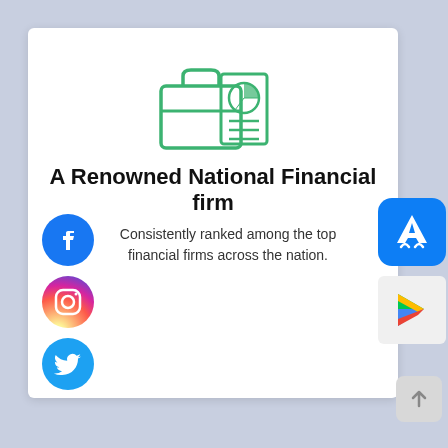[Figure (illustration): Green outline icon of a briefcase with a pie chart and document, representing financial services]
A Renowned National Financial firm
Consistently ranked among the top financial firms across the nation.
[Figure (logo): Facebook circular logo (blue background with white F)]
[Figure (logo): Instagram circular logo (gradient background with camera icon)]
[Figure (logo): Twitter circular logo (blue background with white bird)]
[Figure (logo): Apple App Store icon (blue background with white stylized A)]
[Figure (logo): Google Play Store icon (colorful triangle play button)]